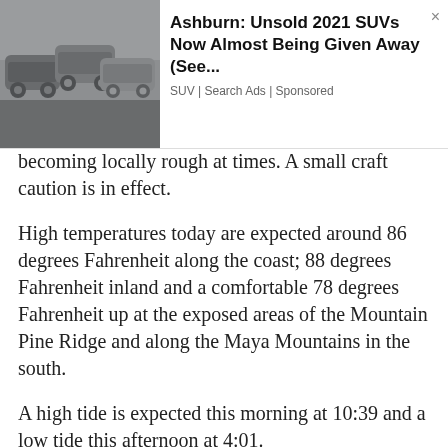[Figure (other): Advertisement banner: Photo of cars in a parking lot on the left, with ad text on the right reading 'Ashburn: Unsold 2021 SUVs Now Almost Being Given Away (See...' and subtext 'SUV | Search Ads | Sponsored', with a close (×) button.]
becoming locally rough at times. A small craft caution is in effect.
High temperatures today are expected around 86 degrees Fahrenheit along the coast; 88 degrees Fahrenheit inland and a comfortable 78 degrees Fahrenheit up at the exposed areas of the Mountain Pine Ridge and along the Maya Mountains in the south.
A high tide is expected this morning at 10:39 and a low tide this afternoon at 4:01.
The Sun will set at 5:17 this evening.
The extended forecast into tomorrow night calls for cloudy to overcast skies with some